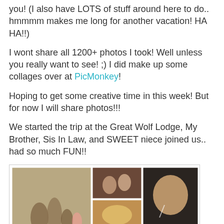you! (I also have LOTS of stuff around here to do.. hmmmm makes me long for another vacation! HA HA!!)
I wont share all 1200+ photos I took! Well unless you really want to see! ;) I did make up some collages over at PicMonkey!
Hoping to get some creative time in this week! But for now I will share photos!!!
We started the trip at the Great Wolf Lodge, My Brother, Sis In Law, and SWEET niece joined us.. had so much FUN!!
[Figure (photo): Collage of vacation photos at Great Wolf Lodge showing family members in water park, restaurant, and with bear mascot character]